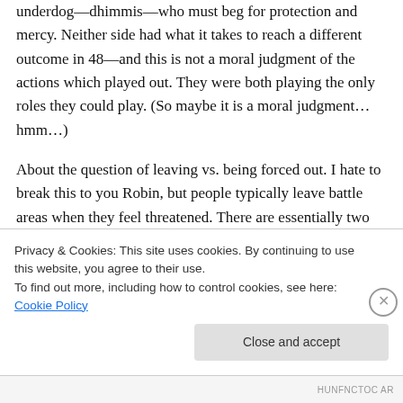underdog—dhimmis—who must beg for protection and mercy. Neither side had what it takes to reach a different outcome in 48—and this is not a moral judgment of the actions which played out. They were both playing the only roles they could play. (So maybe it is a moral judgment… hmm…)
About the question of leaving vs. being forced out. I hate to break this to you Robin, but people typically leave battle areas when they feel threatened. There are essentially two options...
Privacy & Cookies: This site uses cookies. By continuing to use this website, you agree to their use.
To find out more, including how to control cookies, see here: Cookie Policy
Close and accept